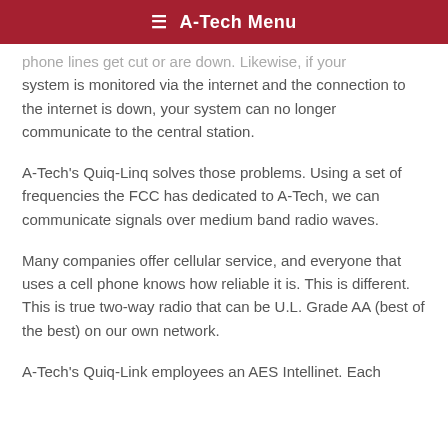≡ A-Tech Menu
phone lines get cut or are down. Likewise, if your system is monitored via the internet and the connection to the internet is down, your system can no longer communicate to the central station.
A-Tech's Quiq-Linq solves those problems. Using a set of frequencies the FCC has dedicated to A-Tech, we can communicate signals over medium band radio waves.
Many companies offer cellular service, and everyone that uses a cell phone knows how reliable it is. This is different. This is true two-way radio that can be U.L. Grade AA (best of the best) on our own network.
A-Tech's Quiq-Link employees an AES Intellinet. Each